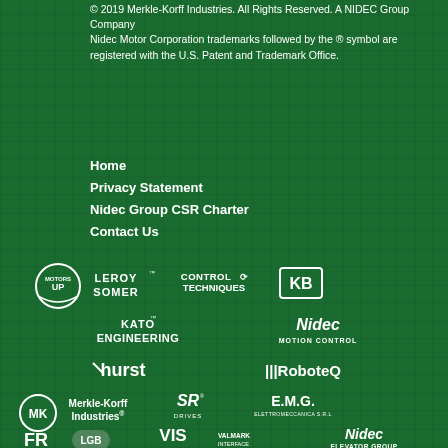© 2019 Merkle-Korff Industries. All Rights Reserved. A NIDEC Group Company
Nidec Motor Corporation trademarks followed by the ® symbol are registered with the U.S. Patent and Trademark Office.
Home
Privacy Statement
Nidec Group CSR Charter
Contact Us
[Figure (logo): Row of brand logos: Motors Up circular logo, Leroy Somer, Control Techniques, KB Electronics, Kato Engineering, Nidec Motion Control, Hurst, RoboteQ, Merkle-Korff Industries, S.R. Drives, E.M.G. Elettromeccanica, FR, LGB, VIS Valmark Interface Solutions, Nidec Elevator Group]